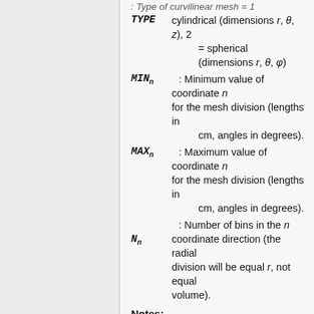: Type of curvilinear mesh — 1 = TYPE cylindrical (dimensions r, θ, z), 2 = spherical (dimensions r, θ, φ)
MIN_n : Minimum value of coordinate n for the mesh division (lengths in cm, angles in degrees).
MAX_n : Maximum value of coordinate n for the mesh division (lengths in cm, angles in degrees).
N_n : Number of bins in the n coordinate direction (the radial division will be equal r, not equal volume).
Notes:
All parameters must be provided, even for one- or two-dimensional curvilinear meshes.
The results are not divided by cell volume (difference to MCNP mesh tally).